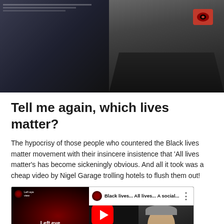[Figure (photo): Top banner showing two photos: left side shows a dark background with some text/poster, right side shows a person in a dark shirt with a red logo patch]
Tell me again, which lives matter?
The hypocrisy of those people who countered the Black lives matter movement with their insincere insistence that ‘All lives matter’s has become sickeningly obvious. And all it took was a cheap video by Nigel Garage trolling hotels to flush them out!
[Figure (screenshot): YouTube video embed showing thumbnail with red eye imagery and text 'Left eye view', video title 'Black lives... All lives... A social...' with a play button overlay and a man visible on the right side of the thumbnail]